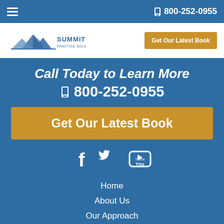☎ 800-252-0955
[Figure (logo): Summit Practice Solutions logo with mountain peaks icon and company name]
Get Our Latest Book
Call Today to Learn More
☎ 800-252-0955
Get Our Latest Book
[Figure (illustration): Social media icons: Facebook, Twitter, YouTube]
Home
About Us
Our Approach
Client Testimonials
Blog